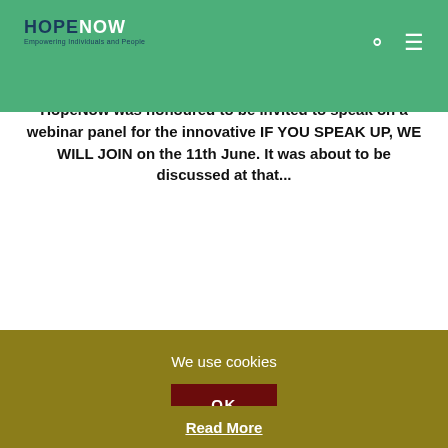HOPE NOW — Empowering Individuals and People
SPEAK UP, WE WILL JOIN
by ben / Uncategorized / 15. June 2020 / No Comments
HopeNow was honoured to be invited to speak on a webinar panel for the innovative IF YOU SPEAK UP, WE WILL JOIN on the 11th June. It was about to be discussed at that...
We use cookies
OK
Read More